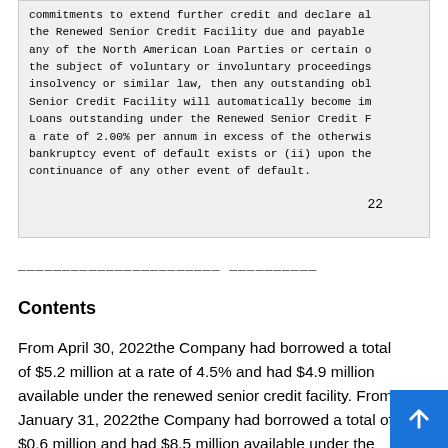commitments to extend further credit and declare all the Renewed Senior Credit Facility due and payable if any of the North American Loan Parties or certain of the subject of voluntary or involuntary proceedings insolvency or similar law, then any outstanding obl: Senior Credit Facility will automatically become imm Loans outstanding under the Renewed Senior Credit Fa a rate of 2.00% per annum in excess of the otherwise bankruptcy event of default exists or (ii) upon the continuance of any other event of default.
22
_______________________ __________
Contents
From April 30, 2022the Company had borrowed a total of $5.2 million at a rate of 4.5% and had $4.9 million available under the renewed senior credit facility. From January 31, 2022the Company had borrowed a total of $0.6 million and had $8.5 million available under the Renew